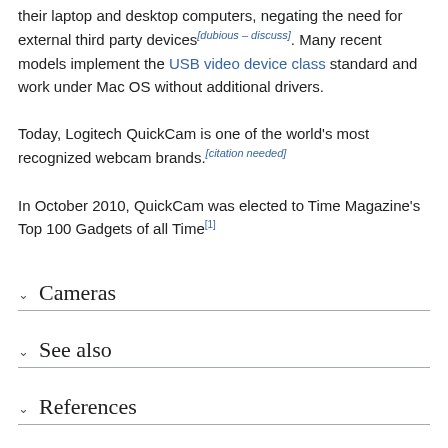their laptop and desktop computers, negating the need for external third party devices[dubious – discuss]. Many recent models implement the USB video device class standard and work under Mac OS without additional drivers.
Today, Logitech QuickCam is one of the world's most recognized webcam brands.[citation needed]
In October 2010, QuickCam was elected to Time Magazine's Top 100 Gadgets of all Time[1]
Cameras
See also
References